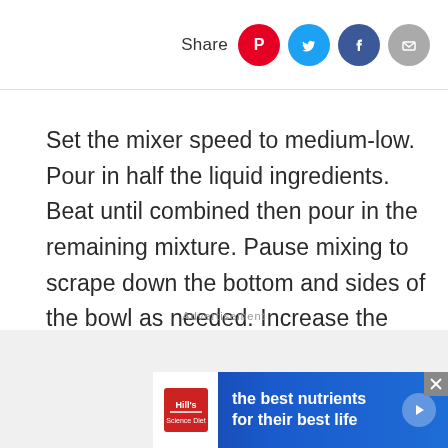Share [Pinterest] [Twitter] [Facebook] [Email]
Set the mixer speed to medium-low. Pour in half the liquid ingredients. Beat until combined then pour in the remaining mixture. Pause mixing to scrape down the bottom and sides of the bowl as needed. Increase the mixer speed to medium-high and beat until light and fluffy for 3 more minutes.
Advertisement
[Figure (other): Hill's pet nutrition advertisement banner with logo and text 'the best nutrients for their best life']